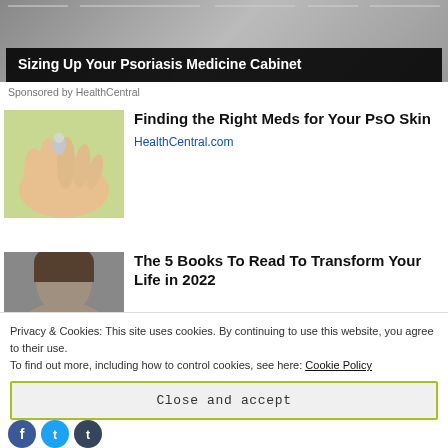[Figure (photo): Advertisement banner image for psoriasis medicine cabinet article, with dark overlay showing title text]
Sizing Up Your Psoriasis Medicine Cabinet
Sponsored by HealthCentral
[Figure (photo): Hand with a pill or drop falling into palm, outdoors green background]
Finding the Right Meds for Your PsO Skin
HealthCentral.com
[Figure (photo): Portrait of a person, partially cropped]
The 5 Books To Read To Transform Your Life in 2022
Privacy & Cookies: This site uses cookies. By continuing to use this website, you agree to their use.
To find out more, including how to control cookies, see here: Cookie Policy
Close and accept